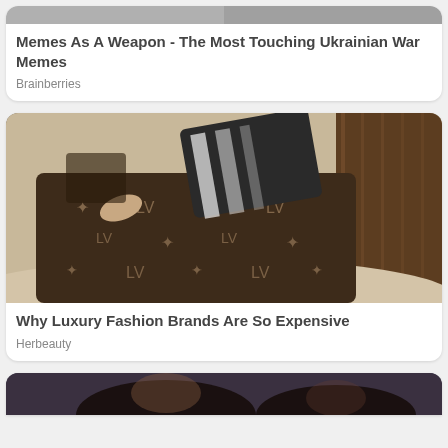[Figure (photo): Top portion of a card showing cropped photos related to Ukrainian war memes]
Memes As A Weapon - The Most Touching Ukrainian War Memes
Brainberries
[Figure (photo): Person sleeping in a luxury private jet seat covered with a Louis Vuitton monogram blanket and pillow]
Why Luxury Fashion Brands Are So Expensive
Herbeauty
[Figure (photo): Partial view of a person's face at the bottom of the page, cropped]